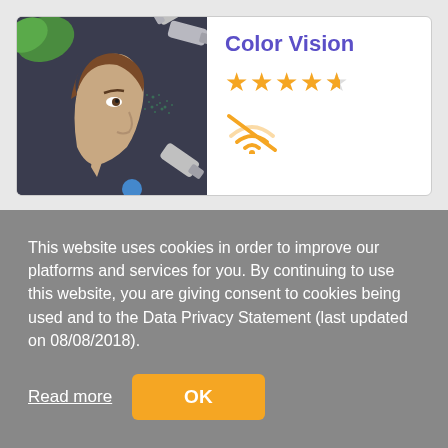[Figure (screenshot): App listing card showing Color Vision app with an illustration of a person being tested with color vision tubes, a 4.5-star rating, and an offline/no-wifi icon]
Color Vision
This website uses cookies in order to improve our platforms and services for you. By continuing to use this website, you are giving consent to cookies being used and to the Data Privacy Statement (last updated on 08/08/2018).
Read more
OK